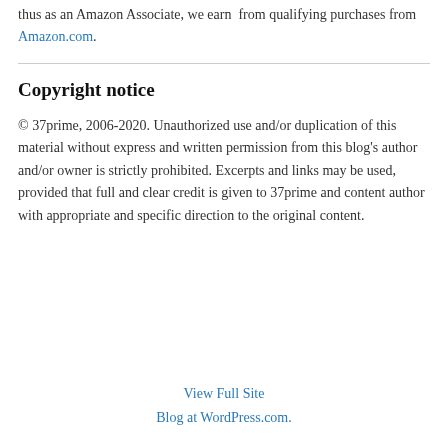thus as an Amazon Associate, we earn  from qualifying purchases from Amazon.com.
Copyright notice
© 37prime, 2006-2020. Unauthorized use and/or duplication of this material without express and written permission from this blog's author and/or owner is strictly prohibited. Excerpts and links may be used, provided that full and clear credit is given to 37prime and content author with appropriate and specific direction to the original content.
View Full Site
Blog at WordPress.com.